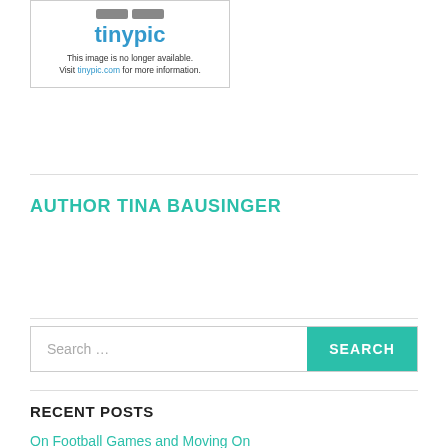[Figure (screenshot): Tinypic placeholder image showing the Tinypic logo and text 'This image is no longer available. Visit tinypic.com for more information.']
AUTHOR TINA BAUSINGER
Search ...
RECENT POSTS
On Football Games and Moving On